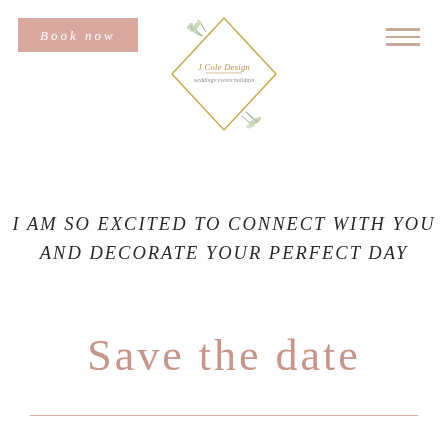Book now
[Figure (logo): J Cole Design diamond-shaped logo with botanical leaf illustration and text 'J Cole Design weddings events holidays']
I AM SO EXCITED TO CONNECT WITH YOU AND DECORATE YOUR PERFECT DAY
Save the date